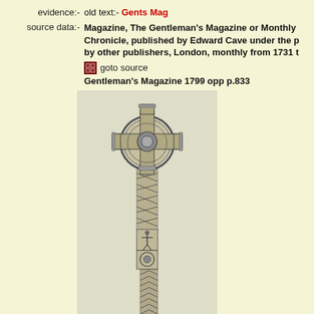evidence:- old text:- Gents Mag
source data:- Magazine, The Gentleman's Magazine or Monthly Chronicle, published by Edward Cave under the p by other publishers, London, monthly from 1731 t goto source Gentleman's Magazine 1799 opp p.833
[Figure (illustration): An engraving of a tall Celtic cross with decorative knotwork shaft, ring-headed cross top with circular boss, carved panels including figures, and chevron/leaf base decoration, from Gentleman's Magazine 1799.]